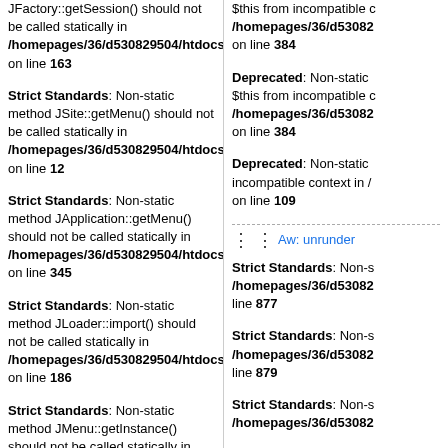JFactory::getSession() should not be called statically in /homepages/36/d530829504/htdocs/a on line 163
Strict Standards: Non-static method JSite::getMenu() should not be called statically in /homepages/36/d530829504/htdocs/a on line 12
Strict Standards: Non-static method JApplication::getMenu() should not be called statically in /homepages/36/d530829504/htdocs/a on line 345
Strict Standards: Non-static method JLoader::import() should not be called statically in /homepages/36/d530829504/htdocs/a on line 186
Strict Standards: Non-static method JMenu::getInstance() should not be called statically in /homepages/36/d530829504/htdocs/a on line 707
$this from incompatible context /homepages/36/d53082... on line 384
Deprecated: Non-static $this from incompatible context /homepages/36/d53082... on line 384
Deprecated: Non-static incompatible context in /... on line 109
Aw: unrunder...
Strict Standards: Non-s... /homepages/36/d53082... line 877
Strict Standards: Non-s... /homepages/36/d53082... line 879
Strict Standards: Non-s... /homepages/36/d53082...